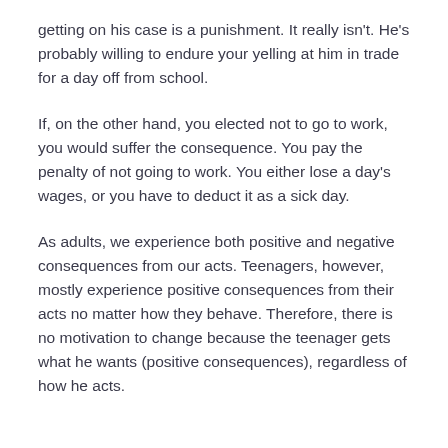getting on his case is a punishment. It really isn't. He's probably willing to endure your yelling at him in trade for a day off from school.
If, on the other hand, you elected not to go to work, you would suffer the consequence. You pay the penalty of not going to work. You either lose a day's wages, or you have to deduct it as a sick day.
As adults, we experience both positive and negative consequences from our acts. Teenagers, however, mostly experience positive consequences from their acts no matter how they behave. Therefore, there is no motivation to change because the teenager gets what he wants (positive consequences), regardless of how he acts.